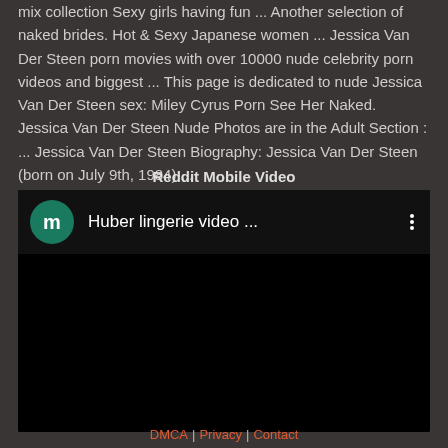mix collection Sexy girls having fun ... Another selection of naked brides. Hot & Sexy Japanese women ... Jessica Van Der Steen porn movies with over 10000 nude celebrity porn videos and biggest ... This page is dedicated to nude Jessica Van Der Steen sex: Miley Cyrus Porn See Her Naked. Jessica Van Der Steen Nude Photos are in the Adult Section : ... Jessica Van Der Steen Biography: Jessica Van Der Steen (born on July 9th, 1984) ...
Reddit Mobile Video
[Figure (screenshot): A Reddit mobile video player UI showing a dark header with a teal circular avatar with letter 'm', title text 'Huber lingerie video ...', a three-dot menu icon, and a black video content area below.]
DMCA | Privacy | Contact